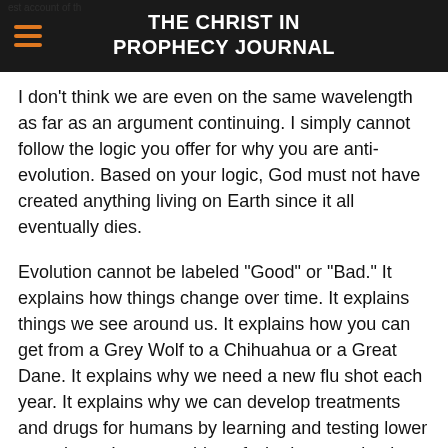THE CHRIST IN PROPHECY JOURNAL
I don't think we are even on the same wavelength as far as an argument continuing. I simply cannot follow the logic you offer for why you are anti-evolution. Based on your logic, God must not have created anything living on Earth since it all eventually dies.
Evolution cannot be labeled "Good" or "Bad." It explains how things change over time. It explains things we see around us. It explains how you can get from a Grey Wolf to a Chihuahua or a Great Dane. It explains why we need a new flu shot each year. It explains why we can develop treatments and drugs for humans by learning and testing lower organisms. It says nothing of whether creation is good or bad.
The biggest thing you have going for your argument is a